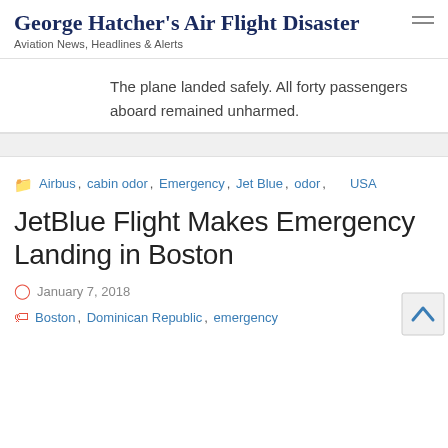George Hatcher's Air Flight Disaster — Aviation News, Headlines & Alerts
The plane landed safely. All forty passengers aboard remained unharmed.
Airbus, cabin odor, Emergency, Jet Blue, odor, USA
JetBlue Flight Makes Emergency Landing in Boston
January 7, 2018
Boston, Dominican Republic, emergency